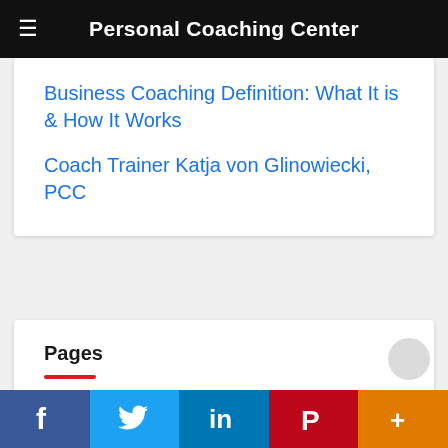Personal Coaching Center
Business Coaching Definition: What It is & How It Works
Coach Trainer Katja von Glinowiecki, PCC
Pages
Actionable Coaching Services
Blog